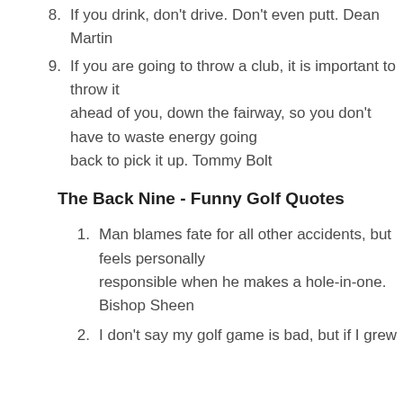8. If you drink, don't drive. Don't even putt. Dean Martin
9. If you are going to throw a club, it is important to throw it ahead of you, down the fairway, so you don't have to waste energy going back to pick it up. Tommy Bolt
The Back Nine - Funny Golf Quotes
1. Man blames fate for all other accidents, but feels personally responsible when he makes a hole-in-one. Bishop Sheen
2. I don't say my golf game is bad, but if I grew